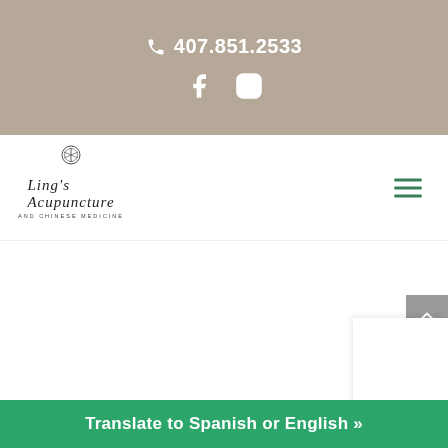407.851.2533
[Figure (logo): Ling's Acupuncture and Chinese Medicine logo with decorative symbol above text]
Translate to Spanish or English »